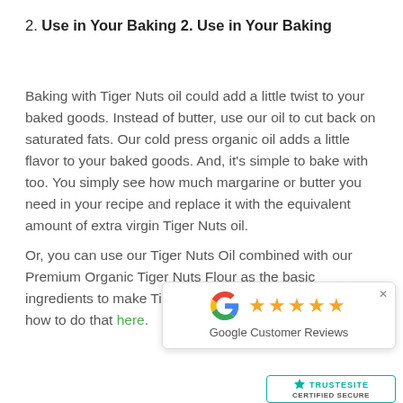2. Use in Your Baking 2. Use in Your Baking
Baking with Tiger Nuts oil could add a little twist to your baked goods. Instead of butter, use our oil to cut back on saturated fats. Our cold press organic oil adds a little flavor to your baked goods. And, it's simple to bake with too. You simply see how much margarine or butter you need in your recipe and replace it with the equivalent amount of extra virgin Tiger Nuts oil.
Or, you can use our Tiger Nuts Oil combined with our Premium Organic Tiger Nuts Flour as the basic ingredients to make Tiger Nuts Butte[r...] how to do that here.
[Figure (infographic): Google Customer Reviews popup with 5 gold stars and Google G logo]
[Figure (logo): TrustSite CERTIFIED SECURE badge]